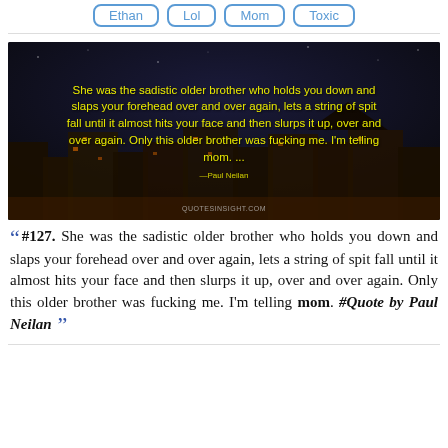Ethan | Lol | Mom | Toxic
[Figure (photo): Dark night cityscape photo with yellow handwritten-style text overlay: 'She was the sadistic older brother who holds you down and slaps your forehead over and over again, lets a string of spit fall until it almost hits your face and then slurps it up, over and over again. Only this older brother was fucking me. I'm telling mom. ...' attributed to Paul Neilan, with quotesinsight.com watermark]
#127. She was the sadistic older brother who holds you down and slaps your forehead over and over again, lets a string of spit fall until it almost hits your face and then slurps it up, over and over again. Only this older brother was fucking me. I'm telling mom. #Quote by Paul Neilan